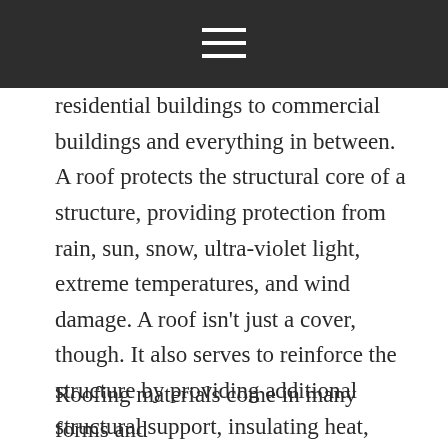☰
residential buildings to commercial buildings and everything in between. A roof protects the structural core of a structure, providing protection from rain, sun, snow, ultra-violet light, extreme temperatures, and wind damage. A roof isn't just a cover, though. It also serves to reinforce the structure by providing additional structural support, insulating heat, ventilating spaces, and defining boundaries. The roof also adds aesthetic value with its ability to block sunlight and its contribution to the aesthetics of a space.
Roofing materials come in many forms and